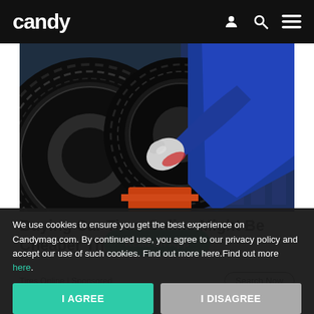candy
[Figure (photo): A mechanic in a blue uniform and white gloves handling car tires, shown stacking or mounting tires on an orange lift, with blue shelving in the background.]
Buying Car Tires Online Might Be Cheaper Than [Read on App overlay]
Tires Online | Sponsored
Search Now
We use cookies to ensure you get the best experience on Candymag.com. By continued use, you agree to our privacy policy and accept our use of such cookies. Find out more here.Find out more here.
I AGREE
I DISAGREE